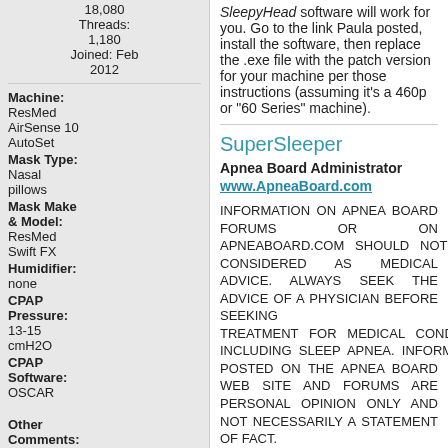18,080 Threads: 1,180 Joined: Feb 2012
Machine: ResMed AirSense 10 AutoSet
Mask Type: Nasal pillows
Mask Make & Model: ResMed Swift FX
Humidifier: none
CPAP Pressure: 13-15 cmH2O
CPAP Software: OSCAR
Other Comments:
SleepyHead software will work for you. Go to the link Paula posted, install the software, then replace the .exe file with the patch version for your machine per those instructions (assuming it's a 460p or "60 Series" machine).
SuperSleeper
Apnea Board Administrator
www.ApneaBoard.com
INFORMATION ON APNEA BOARD FORUMS OR ON APNEABOARD.COM SHOULD NOT BE CONSIDERED AS MEDICAL ADVICE. ALWAYS SEEK THE ADVICE OF A PHYSICIAN BEFORE SEEKING TREATMENT FOR MEDICAL CONDITIONS, INCLUDING SLEEP APNEA. INFORMATION POSTED ON THE APNEA BOARD WEB SITE AND FORUMS ARE PERSONAL OPINION ONLY AND NOT NECESSARILY A STATEMENT OF FACT.
DONATE to Apnea Board